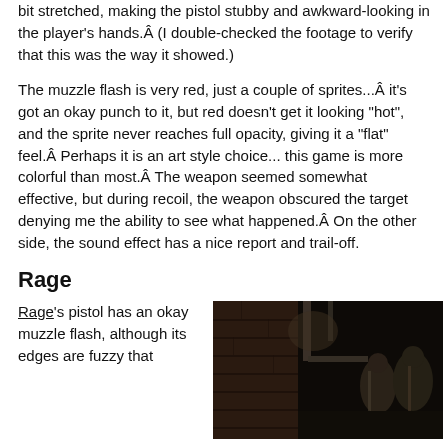bit stretched, making the pistol stubby and awkward-looking in the player's hands.Â  (I double-checked the footage to verify that this was the way it showed.)
The muzzle flash is very red, just a couple of sprites...Â  it's got an okay punch to it, but red doesn't get it looking "hot", and the sprite never reaches full opacity, giving it a "flat" feel.Â  Perhaps it is an art style choice... this game is more colorful than most.Â  The weapon seemed somewhat effective, but during recoil, the weapon obscured the target denying me the ability to see what happened.Â  On the other side, the sound effect has a nice report and trail-off.
Rage
Rage's pistol has an okay muzzle flash, although its edges are fuzzy that
[Figure (photo): Dark, gritty screenshot from the game Rage showing a dimly lit industrial or dungeon-like environment with brick walls, pipes, and armored figures]